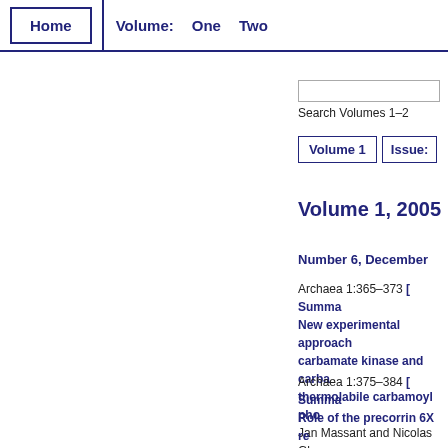Home | Volume: One Two
Search Volumes 1–2
Volume 1 | Issue:
Volume 1, 2005
Number 6, December
Archaea 1:365–373 [ Summa
New experimental approach carbamate kinase and carba thermolabile carbamoyl pho
Jan Massant and Nicolas Gla
Archaea 1:375–384 [ Summa
Role of the precorrin 6X re maripaludis